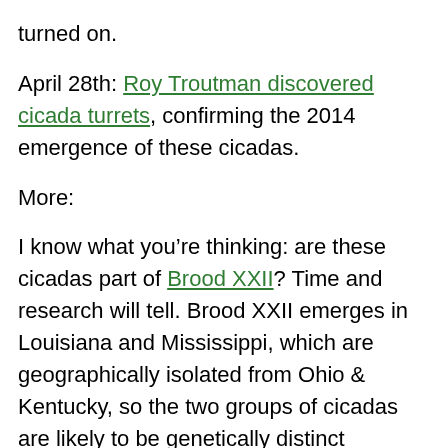turned on.
April 28th: Roy Troutman discovered cicada turrets, confirming the 2014 emergence of these cicadas.
More:
I know what you’re thinking: are these cicadas part of Brood XXII? Time and research will tell. Brood XXII emerges in Louisiana and Mississippi, which are geographically isolated from Ohio & Kentucky, so the two groups of cicadas are likely to be genetically distinct (belonging to different mitochondrial haplotype groups at least). That said, Brood II, which emerges mostly along the east coast of the U.S., also emerges in Oklahoma,